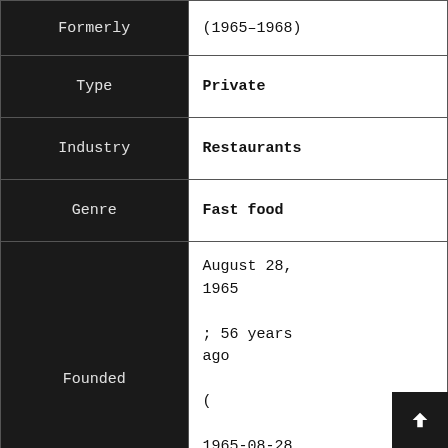| Field | Value |
| --- | --- |
| Formerly | (1965–1968) |
| Type | Private |
| Industry | Restaurants |
| Genre | Fast food |
| Founded | August 28, 1965 ; 56 years ago ( 1965-08-28 ) |